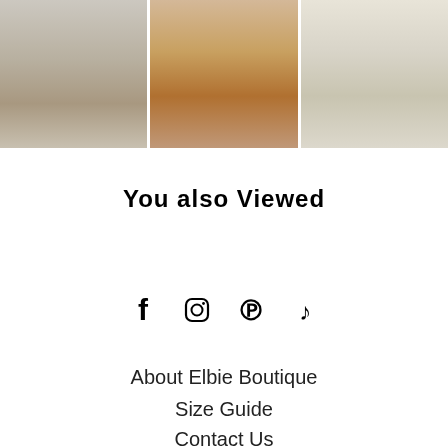[Figure (photo): Three product photos of women wearing boots: left shows person in blue jeans with beige ankle boots, center shows brown/tan cowboy boots close-up, right shows person in light jeans with white ankle boots.]
You also Viewed
[Figure (other): Social media icons row: Facebook, Instagram, Pinterest, TikTok]
About Elbie Boutique
Size Guide
Contact Us